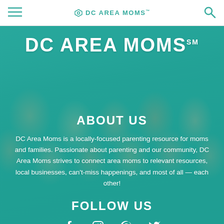DC AREA MOMS™
[Figure (photo): Group photo of diverse women (DC Area Moms team) seated and standing outdoors, overlaid with teal color wash]
DC AREA MOMS℠
ABOUT US
DC Area Moms is a locally-focused parenting resource for moms and families. Passionate about parenting and our community, DC Area Moms strives to connect area moms to relevant resources, local businesses, can't-miss happenings, and most of all — each other!
FOLLOW US
[Figure (illustration): Social media icons: Facebook, Instagram, Pinterest, Twitter]